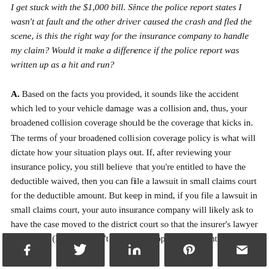I get stuck with the $1,000 bill. Since the police report states I wasn't at fault and the other driver caused the crash and fled the scene, is this the right way for the insurance company to handle my claim? Would it make a difference if the police report was written up as a hit and run?
A. Based on the facts you provided, it sounds like the accident which led to your vehicle damage was a collision and, thus, your broadened collision coverage should be the coverage that kicks in. The terms of your broadened collision coverage policy is what will dictate how your situation plays out. If, after reviewing your insurance policy, you still believe that you're entitled to have the deductible waived, then you can file a lawsuit in small claims court for the deductible amount. But keep in mind, if you file a lawsuit in small claims court, your auto insurance company will likely ask to have the case moved to the district court so that the insurer's lawyer can appear (Lawyers aren't allowed to appear for litigants in small claims
[Figure (other): Social share buttons: Facebook, Twitter, LinkedIn, Pinterest, Email]